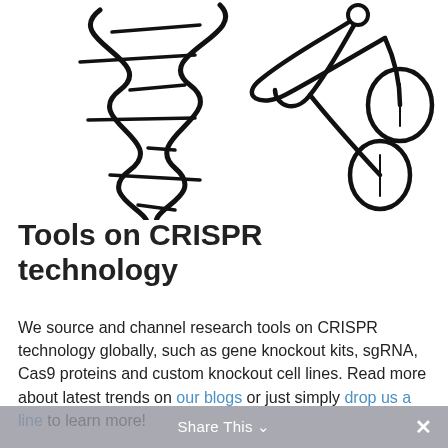[Figure (illustration): Line drawing illustration of a DNA double helix being cut by scissors, representing CRISPR gene editing technology. The DNA strand is on the left and scissors are on the right with the blades positioned to cut the DNA.]
Tools on CRISPR technology
We source and channel research tools on CRISPR technology globally, such as gene knockout kits, sgRNA, Cas9 proteins and custom knockout cell lines. Read more about latest trends on our blogs or just simply drop us a line to learn more!